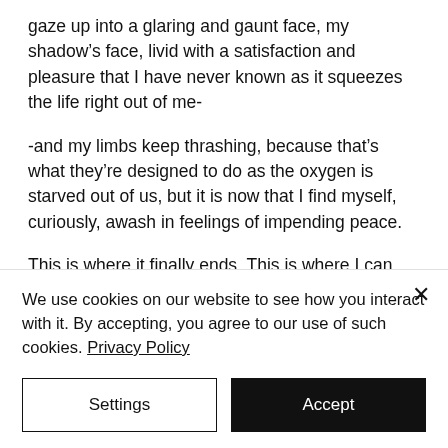gaze up into a glaring and gaunt face, my shadow's face, livid with a satisfaction and pleasure that I have never known as it squeezes the life right out of me-
-and my limbs keep thrashing, because that's what they're designed to do as the oxygen is starved out of us, but it is now that I find myself, curiously, awash in feelings of impending peace.
This is where it finally ends. This is where I can stop running. There's nothing lurking in the shadows beyond.
Nothing worse than this will ever happen
We use cookies on our website to see how you interact with it. By accepting, you agree to our use of such cookies. Privacy Policy
Settings
Accept